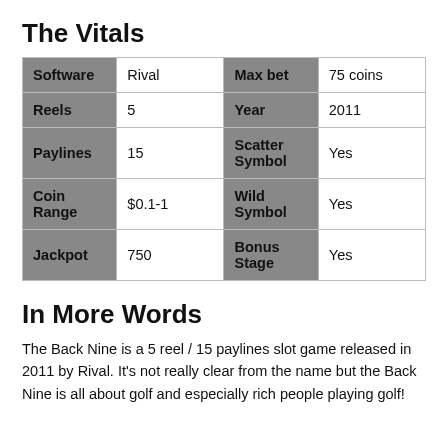The Vitals
| Software | Rival | Max bet | 75 coins |
| Reels | 5 | Year | 2011 |
| Paylines | 15 | Scatter Symbol | Yes |
| Coin Range | $0.1-1 | Wild Symbol | Yes |
| Jackpot | 750 | Bonus Stage | Yes |
In More Words
The Back Nine is a 5 reel / 15 paylines slot game released in 2011 by Rival. It's not really clear from the name but the Back Nine is all about golf and especially rich people playing golf!